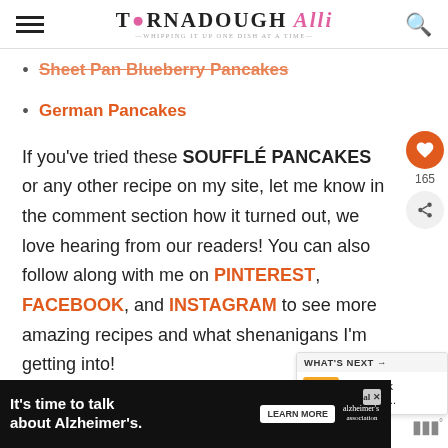TORNADOUGH Alli — Whipping up one dish at a time
Sheet Pan Blueberry Pancakes
German Pancakes
If you've tried these SOUFFLÉ PANCAKES or any other recipe on my site, let me know in the comment section how it turned out, we love hearing from our readers! You can also follow along with me on PINTEREST, FACEBOOK, and INSTAGRAM to see more amazing recipes and what shenanigans I'm getting into!
[Figure (other): Advertisement banner: It's time to talk about Alzheimer's. Learn More button. Alzheimer's Association logo.]